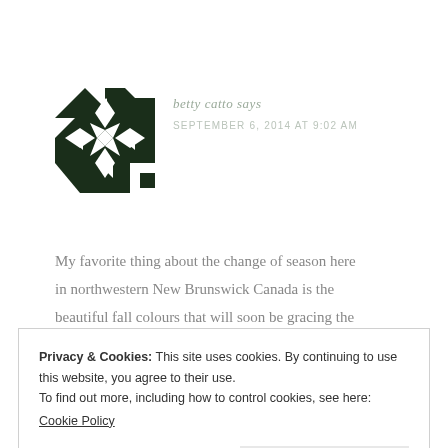[Figure (illustration): Square avatar image with dark green geometric quilt-like pattern featuring triangles and diamonds on a dark background]
betty catto says
SEPTEMBER 6, 2014 AT 9:02 AM
My favorite thing about the change of season here in northwestern New Brunswick Canada is the beautiful fall colours that will soon be gracing the
Privacy & Cookies: This site uses cookies. By continuing to use this website, you agree to their use.
To find out more, including how to control cookies, see here:
Cookie Policy
Close and accept